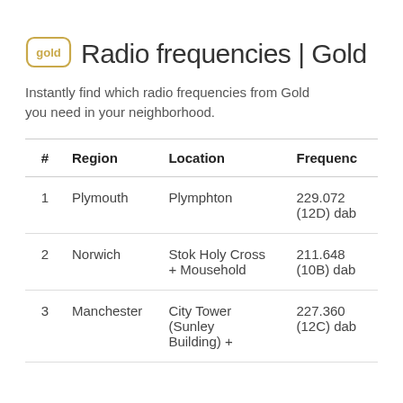Radio frequencies | Gold
Instantly find which radio frequencies from Gold you need in your neighborhood.
| # | Region | Location | Frequency |
| --- | --- | --- | --- |
| 1 | Plymouth | Plymphton | 229.072 (12D) dab |
| 2 | Norwich | Stok Holy Cross + Mousehold | 211.648 (10B) dab |
| 3 | Manchester | City Tower (Sunley Building) + | 227.360 (12C) dab |